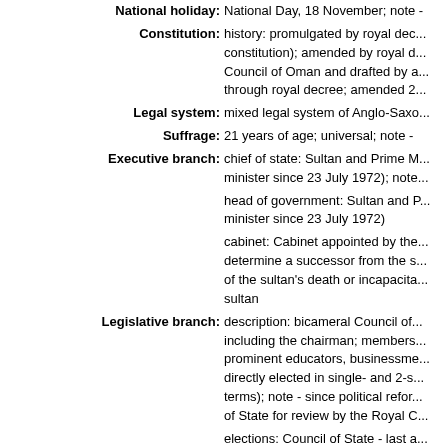National holiday: National Day, 18 November; note -
Constitution: history: promulgated by royal decree; amended by royal d... Council of Oman and drafted by a... through royal decree; amended 2...
Legal system: mixed legal system of Anglo-Saxo...
Suffrage: 21 years of age; universal; note -
Executive branch: chief of state: Sultan and Prime M... minister since 23 July 1972); note...
head of government: Sultan and P... minister since 23 July 1972)
cabinet: Cabinet appointed by the... determine a successor from the s... of the sultan's death or incapacita... sultan
Legislative branch: description: bicameral Council of... including the chairman; members... prominent educators, businessme... directly elected in single- and 2-s... terms); note - since political refor... of State for review by the Royal C...
elections: Council of State - last a... held on 25 October 2015 (next to...
election results: Council of State -... Council percent of vote by party -... banned); composition men 85, w...